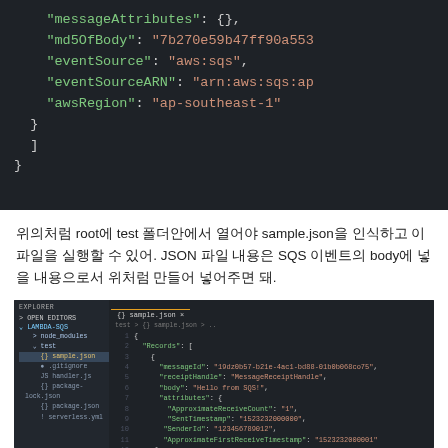[Figure (screenshot): Dark-themed code editor showing JSON code snippet with fields messageAttributes, md5OfBody, eventSource (aws:sqs), eventSourceARN (arn:aws:sqs:ap...), awsRegion (ap-southeast-1), closing braces and brackets.]
위의처럼 root에 test 폴더안에서 열어야 sample.json을 인식하고 이 파일을 실행할 수 있어. JSON 파일 내용은 SQS 이벤트의 body에 넣을 내용으로서 위처럼 만들어 넣어주면 돼.
[Figure (screenshot): VS Code screenshot showing EXPLORER sidebar with LAMBDA-SQS project structure (node_modules, test/sample.json, .gitignore, handler.js, package-lock.json, package.json, serverless.yml) and the sample.json file open in the editor showing SQS event JSON with Records array containing messageId, receiptHandle, body (hello from SQS!), attributes (ApproximateReceiveCount, SentTimestamp, SenderId, ApproximateFirstReceiveTimestamp), messageAttributes, md5OfBody, eventSource (aws:sqs), eventSourceARN (arn:aws:sqs:ap-southeast-1:123456789012:MyQueue), awsRegion (ap-southeast-1).]